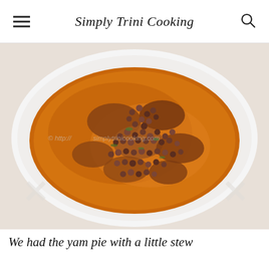Simply Trini Cooking
[Figure (photo): A white plate containing a stew dish with beans (black-eyed peas or similar small beans) and meat pieces in a rich orange-brown broth, viewed from above. Watermark visible in center.]
We had the yam pie with a little stew